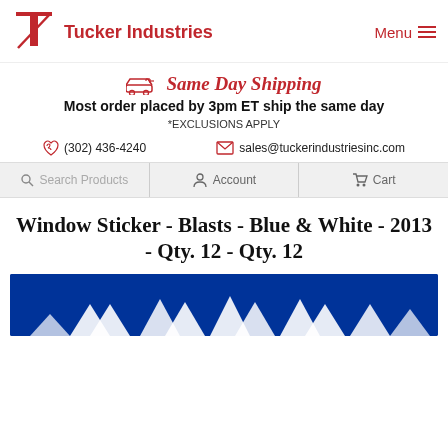Tucker Industries | Menu
Same Day Shipping
Most order placed by 3pm ET ship the same day
*EXCLUSIONS APPLY
(302) 436-4240    sales@tuckerindustriesinc.com
Search Products    Account    Cart
Window Sticker - Blasts - Blue & White - 2013 - Qty. 12 - Qty. 12
[Figure (photo): Blue and white window sticker product image showing blast pattern design]